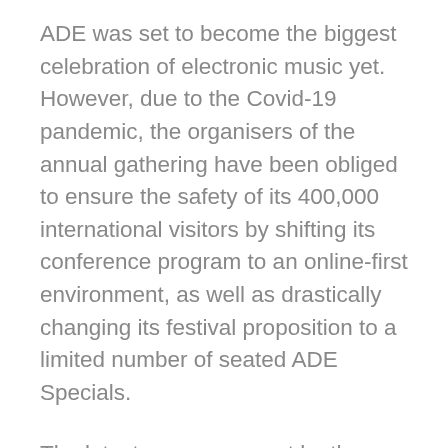ADE was set to become the biggest celebration of electronic music yet. However, due to the Covid-19 pandemic, the organisers of the annual gathering have been obliged to ensure the safety of its 400,000 international visitors by shifting its conference program to an online-first environment, as well as drastically changing its festival proposition to a limited number of seated ADE Specials.
The latest announcement by the Dutch government affecting clubs and nightlife is another blow for the industry, says co-